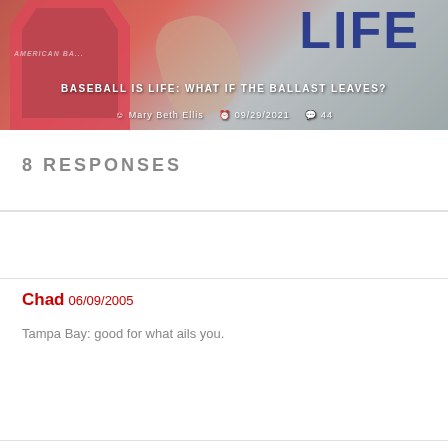[Figure (screenshot): Hero banner image with a baseball jersey in red on the left, a hand reaching out in the center, and the word LIFE in large dark blue text on the right. A title overlay reads 'BASEBALL IS LIFE: WHAT IF THE BALLAST LEAVES?' with author Mary Beth Ellis, date 09/29/2021, and comment count 44.]
BASEBALL IS LIFE: WHAT IF THE BALLAST LEAVES?
Mary Beth Ellis  09/29/2021  44
8 RESPONSES
Chad 06/09/2005
Tampa Bay: good for what ails you.